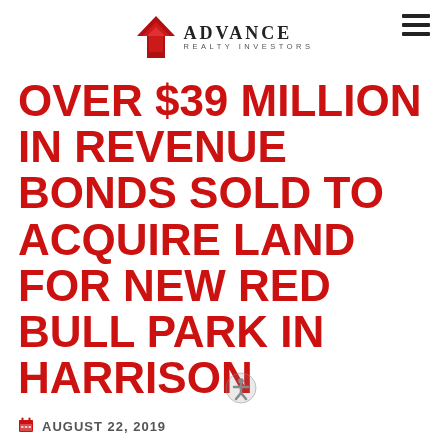Advance Realty Investors
OVER $39 MILLION IN REVENUE BONDS SOLD TO ACQUIRE LAND FOR NEW RED BULL PARK IN HARRISON
AUGUST 22, 2019
Over $39 Million in Revenue Bonds Sold to Acquire Land for New Red Bull Park in Harrison